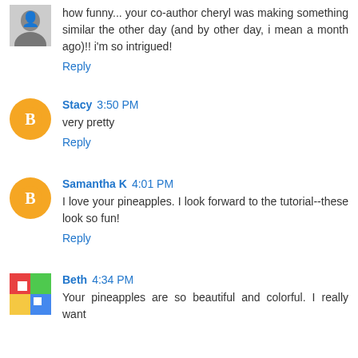[Figure (photo): Black and white photo avatar of a person]
how funny... your co-author cheryl was making something similar the other day (and by other day, i mean a month ago)!! i'm so intrigued!
Reply
[Figure (logo): Orange circular Blogger icon with letter B]
Stacy 3:50 PM
very pretty
Reply
[Figure (logo): Orange circular Blogger icon with letter B]
Samantha K 4:01 PM
I love your pineapples. I look forward to the tutorial--these look so fun!
Reply
[Figure (photo): Colorful quilt or art avatar image]
Beth 4:34 PM
Your pineapples are so beautiful and colorful. I really want